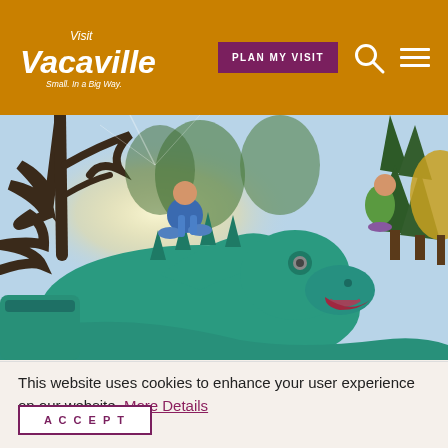Visit Vacaville - Small. In a Big Way. | PLAN MY VISIT
[Figure (photo): Close-up photo of a teal/green dragon playground sculpture with a child climbing on top, surrounded by trees in a park setting]
This website uses cookies to enhance your user experience on our website. More Details
ACCEPT